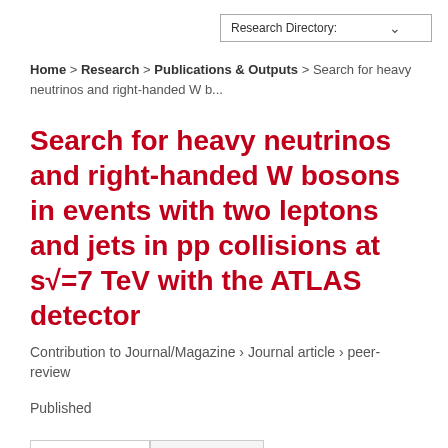Research Directory:
Home > Research > Publications & Outputs > Search for heavy neutrinos and right-handed W b...
Search for heavy neutrinos and right-handed W bosons in events with two leptons and jets in pp collisions at s√=7 TeV with the ATLAS detector
Contribution to Journal/Magazine › Journal article › peer-review
Published
Overview   Cite this